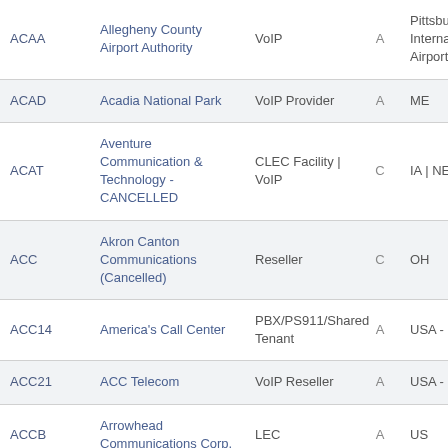| Code | Name | Type | Status | Region |
| --- | --- | --- | --- | --- |
| ACAA | Allegheny County Airport Authority | VoIP | A | Pittsburgh Internationa Airport |
| ACAD | Acadia National Park | VoIP Provider | A | ME |
| ACAT | Aventure Communication & Technology - CANCELLED | CLEC Facility | VoIP | C | IA | NE | S |
| ACC | Akron Canton Communications (Cancelled) | Reseller | C | OH |
| ACC14 | America's Call Center | PBX/PS911/Shared Tenant | A | USA - Nationwic |
| ACC21 | ACC Telecom | VoIP Reseller | A | USA - Nationwic |
| ACCB | Arrowhead Communications Corp. | LEC | A | US |